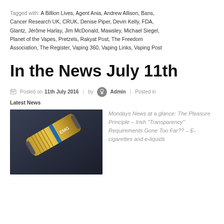Tagged with: A Billion Lives, Agent Ania, Andrew Allison, Bans, Cancer Research UK, CRUK, Denise Piper, Devin Kelly, FDA, Glantz, Jérôme Harlay, Jim McDonald, Mawsley, Michael Siegel, Planet of the Vapes, Pretzels, Rakyat Post, The Freedom Association, The Register, Vaping 360, Vaping Links, Vaping Post
In the News July 11th
Posted on 11th July 2016 | by Admin | Posted in
Latest News
[Figure (photo): Close-up photo of a golden/brass vape device or e-cigarette with blue accent ring and coiled body, on dark background. Brand marking 'EMG' visible.]
Mondays News at a glance: The Pleasure Principle – Irish "Transparency" Requirements Gone Too Far?? – E-cigarettes and e-liquids